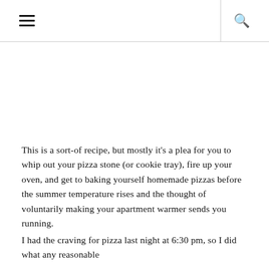≡  🔍
This is a sort-of recipe, but mostly it's a plea for you to whip out your pizza stone (or cookie tray), fire up your oven, and get to baking yourself homemade pizzas before the summer temperature rises and the thought of voluntarily making your apartment warmer sends you running.
I had the craving for pizza last night at 6:30 pm, so I did what any reasonable